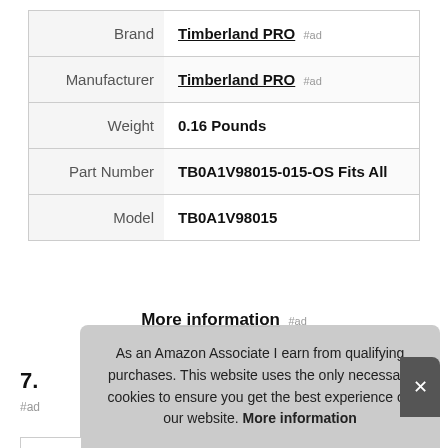|  |  |
| --- | --- |
| Brand | Timberland PRO #ad |
| Manufacturer | Timberland PRO #ad |
| Weight | 0.16 Pounds |
| Part Number | TB0A1V98015-015-OS Fits All |
| Model | TB0A1V98015 |
More information #ad
7.
#ad
As an Amazon Associate I earn from qualifying purchases. This website uses the only necessary cookies to ensure you get the best experience on our website. More information